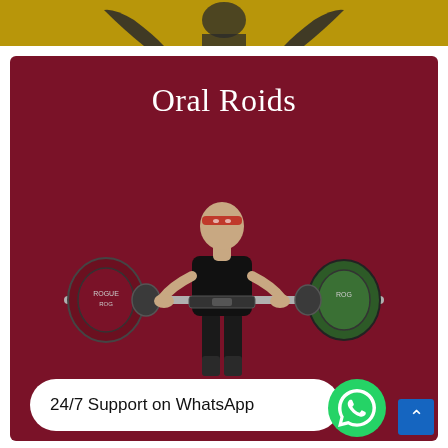[Figure (photo): Top banner showing a muscular figure with arms raised against a golden/yellow background]
[Figure (photo): Dark red/maroon card featuring a weightlifter performing a deadlift with heavy barbell, wearing black singlet and red headband, against a maroon background, with the title 'Oral Roids' at top and a WhatsApp support button at the bottom]
Oral Roids
24/7 Support on WhatsApp